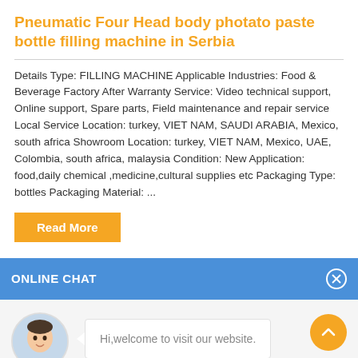Pneumatic Four Head body photato paste bottle filling machine in Serbia
Details Type: FILLING MACHINE Applicable Industries: Food & Beverage Factory After Warranty Service: Video technical support, Online support, Spare parts, Field maintenance and repair service Local Service Location: turkey, VIET NAM, SAUDI ARABIA, Mexico, south africa Showroom Location: turkey, VIET NAM, Mexico, UAE, Colombia, south africa, malaysia Condition: New Application: food,daily chemical ,medicine,cultural supplies etc Packaging Type: bottles Packaging Material: ...
Read More
ONLINE CHAT
Hi,welcome to visit our website.
Cilina